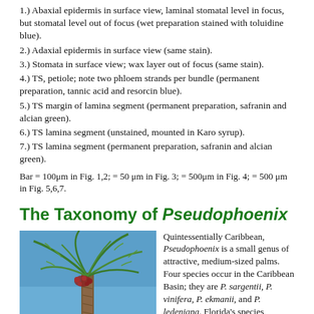1.) Abaxial epidermis in surface view, laminal stomatal level in focus, but stomatal level out of focus (wet preparation stained with toluidine blue).
2.) Adaxial epidermis in surface view (same stain).
3.) Stomata in surface view; wax layer out of focus (same stain).
4.) TS, petiole; note two phloem strands per bundle (permanent preparation, tannic acid and resorcin blue).
5.) TS margin of lamina segment (permanent preparation, safranin and alcian green).
6.) TS lamina segment (unstained, mounted in Karo syrup).
7.) TS lamina segment (permanent preparation, safranin and alcian green).
Bar = 100μm in Fig. 1,2; = 50 μm in Fig. 3; = 500μm in Fig. 4; = 500 μm in Fig. 5,6,7.
The Taxonomy of Pseudophoenix
[Figure (photo): Photograph of a Pseudophoenix palm tree with feathery green fronds against a blue sky background]
Quintessentially Caribbean, Pseudophoenix is a small genus of attractive, medium-sized palms. Four species occur in the Caribbean Basin; they are P. sargentii, P. vinifera, P. ekmanii, and P. ledeniana. Florida's species, Pseudophoenix sargentii, occurs only in the Florida Keys, where it is severely endangered, and is the subject of an intensive conservation and reintroduction program. While conservation activities are vitally important, the foundation for any